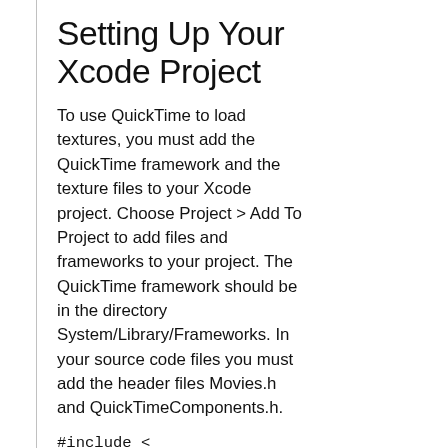Setting Up Your Xcode Project
To use QuickTime to load textures, you must add the QuickTime framework and the texture files to your Xcode project. Choose Project > Add To Project to add files and frameworks to your project. The QuickTime framework should be in the directory System/Library/Frameworks. In your source code files you must add the header files Movies.h and QuickTimeComponents.h.
#include < QuickTime/Movies.h>